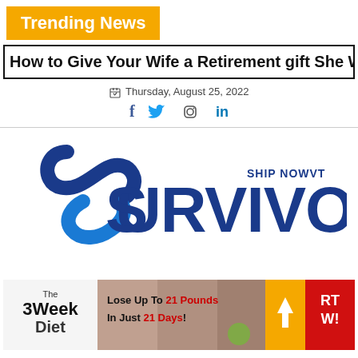Trending News
How to Give Your Wife a Retirement gift She Wi
Thursday, August 25, 2022
[Figure (logo): SURVIVOR logo with stylized S graphic and 'SHIP NOWVT' text]
[Figure (infographic): The 3 Week Diet advertisement banner: Lose Up To 21 Pounds In Just 21 Days! START NOW!]